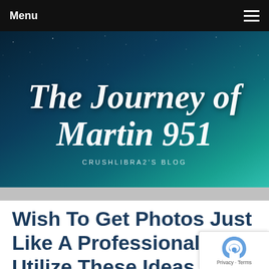Menu
[Figure (illustration): Blog header banner with dark teal/blue starfield night sky background. Large cursive white text reads 'The Journey of Martin 951'. Below in small spaced caps: 'CRUSHLIBRA2'S BLOG'.]
Wish To Get Photos Just Like A Professional? Utilize These Ideas